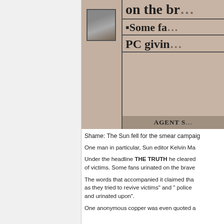[Figure (photo): Photo of stacked newspaper front pages showing headlines including 'on the br...', 'Some fa...', and 'PC givin...' on what appears to be The Sun newspaper]
Shame: The Sun fell for the smear campaig...
One man in particular, Sun editor Kelvin Ma...
Under the headline THE TRUTH he cleared... of victims. Some fans urinated on the brave...
The words that accompanied it claimed tha... as they tried to revive victims" and " police ... and urinated upon".
One anonymous copper was even quoted a...